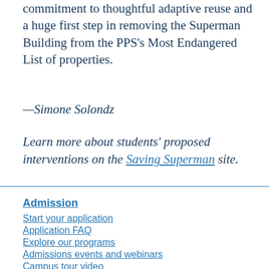commitment to thoughtful adaptive reuse and a huge first step in removing the Superman Building from the PPS's Most Endangered List of properties.
—Simone Solondz
Learn more about students' proposed interventions on the Saving Superman site.
Admission
Start your application
Application FAQ
Explore our programs
Admissions events and webinars
Campus tour video